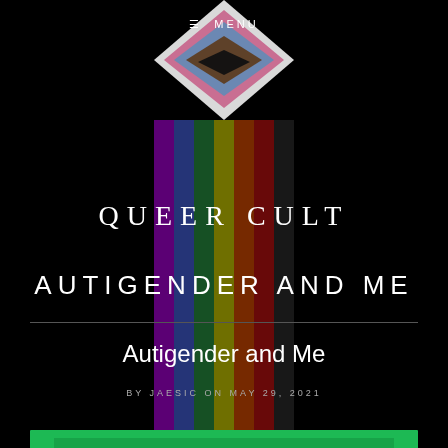☰ MENU
[Figure (illustration): Progress Pride flag displayed as a vertical strip in the center of the page, showing a chevron/arrow at the top with white, pink, light blue, brown, and black layers, and vertical rainbow stripes (purple, dark blue, dark green, yellow-green, dark orange, dark red) extending downward.]
QUEER CULT
AUTIGENDER AND ME
Autigender and Me
BY JAESIC ON MAY 29, 2021